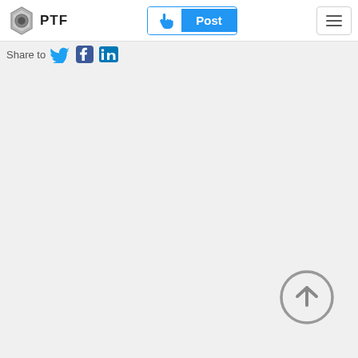[Figure (screenshot): PTF website navigation bar with logo (gear/nut icon and PTF text), a hand icon + Post button in blue, and a hamburger menu button on the right]
Share to [Twitter icon] [Facebook icon] [LinkedIn icon]
[Figure (other): Back-to-top circular arrow button in gray]